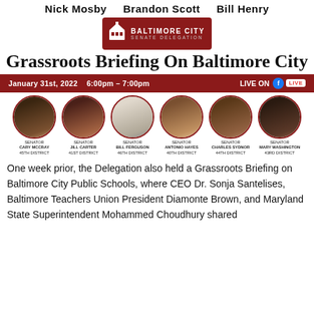Nick Mosby   Brandon Scott   Bill Henry
[Figure (logo): Baltimore City Senate Delegation logo with capitol building icon and red background]
Grassroots Briefing On Baltimore City
January 31st, 2022   6:00pm – 7:00pm   LIVE ON Facebook LIVE
[Figure (photo): Six senator headshots in circular frames with red borders: Senator Cary McCray 45th District, Senator Jill Carter 41st District, Senator Bill Ferguson 46th District, Senator Antonio Hayes 40th District, Senator Charles Sydnor 44th District, Senator Mary Washington 43rd District]
One week prior, the Delegation also held a Grassroots Briefing on Baltimore City Public Schools, where CEO Dr. Sonja Santelises, Baltimore Teachers Union President Diamonte Brown, and Maryland State Superintendent Mohammed Choudhury shared